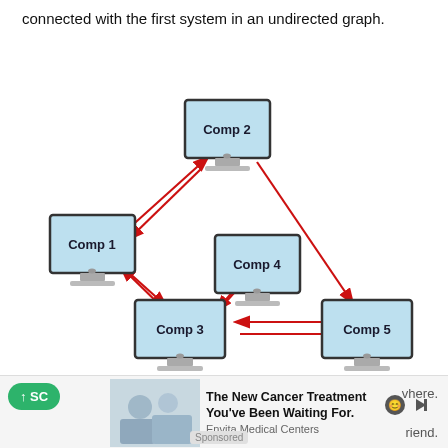connected with the first system in an undirected graph.
[Figure (network-graph): Network diagram showing 5 computers (Comp 1 through Comp 5) connected with directed red arrows. Comp 2 is at top center. Comp 1 is at left middle. Comp 4 is at center. Comp 3 is at bottom center-left. Comp 5 is at bottom right. Arrows show: Comp 1 -> Comp 2, Comp 2 -> Comp 1, Comp 2 -> Comp 5, Comp 5 -> Comp 3, Comp 3 -> Comp 5, Comp 3 -> Comp 1, Comp 1 -> Comp 3, Comp 3 -> Comp 4, Comp 4 -> Comp 3.]
The topology of digital social networks is also a
↑ SC                                                 vhere.
The New Cancer Treatment You've Been Waiting For.
Envita Medical Centers
Sponsored
riend.